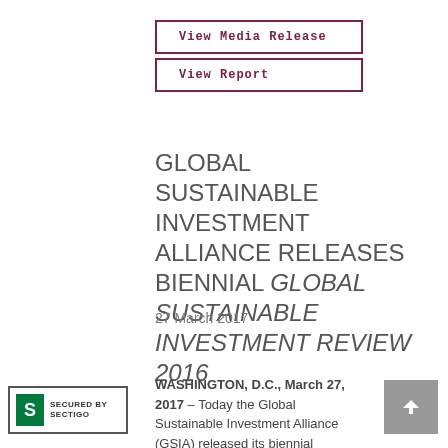View Media Release
View Report
GLOBAL SUSTAINABLE INVESTMENT ALLIANCE RELEASES BIENNIAL GLOBAL SUSTAINABLE INVESTMENT REVIEW 2016
27 March 2017
WASHINGTON, D.C., March 27, 2017 – Today the Global Sustainable Investment Alliance (GSIA) released its biennial Global Sustainable